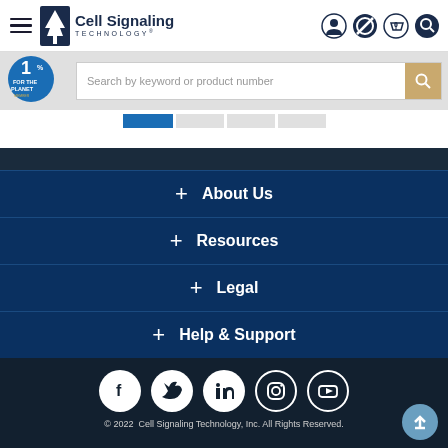[Figure (screenshot): Cell Signaling Technology website header with hamburger menu, logo, and navigation icons (user, notifications, cart, search)]
[Figure (screenshot): 1% for the Planet badge and search bar with placeholder 'Search by keyword or product number' and gold search button]
[Figure (screenshot): Navigation tabs row with one active blue tab and three grey tabs]
+ About Us
+ Resources
+ Legal
+ Help & Support
[Figure (screenshot): Social media icons row: Facebook, Twitter, LinkedIn, Instagram, YouTube — white circles on dark navy background]
© 2022  Cell Signaling Technology, Inc. All Rights Reserved.